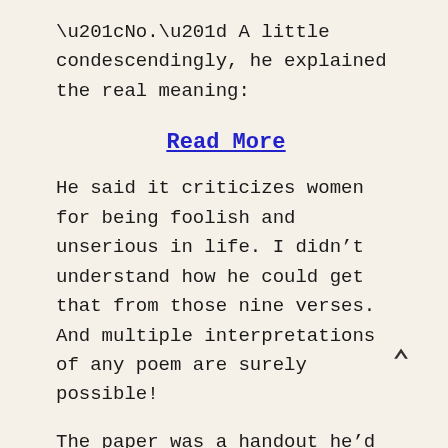“No.” A little condescendingly, he explained the real meaning:
Read More
He said it criticizes women for being foolish and unserious in life. I didn’t understand how he could get that from those nine verses. And multiple interpretations of any poem are surely possible!
The paper was a handout he’d made for his class. He’d had to explain the poem, longform lecture style.
At home later, I find that this poem actually